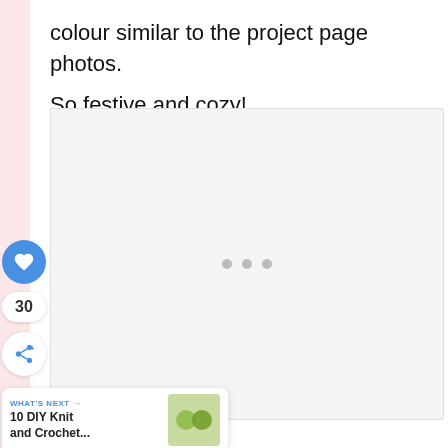colour similar to the project page photos.
So festive and cozy!
[Figure (photo): Image placeholder with three grey dots indicating loading content]
30
WHAT'S NEXT → 10 DIY Knit and Crochet...